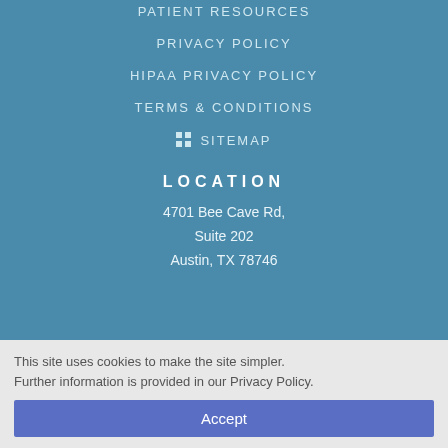PATIENT RESOURCES
PRIVACY POLICY
HIPAA PRIVACY POLICY
TERMS & CONDITIONS
SITEMAP
LOCATION
4701 Bee Cave Rd,
Suite 202
Austin, TX 78746
This site uses cookies to make the site simpler. Further information is provided in our Privacy Policy.
Accept